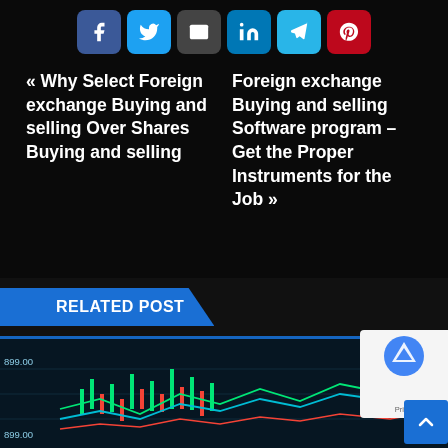[Figure (infographic): Row of 6 social share icon buttons: Facebook (blue), Twitter (light blue), Email (dark grey), LinkedIn (blue), Telegram (cyan), Pinterest (red)]
« Why Select Foreign exchange Buying and selling Over Shares Buying and selling
Foreign exchange Buying and selling Software program – Get the Proper Instruments for the Job »
RELATED POST
[Figure (screenshot): Bottom strip showing a financial trading chart with candlesticks and line overlays in green, red, and teal on dark blue background. Price labels 899.00 visible on left.]